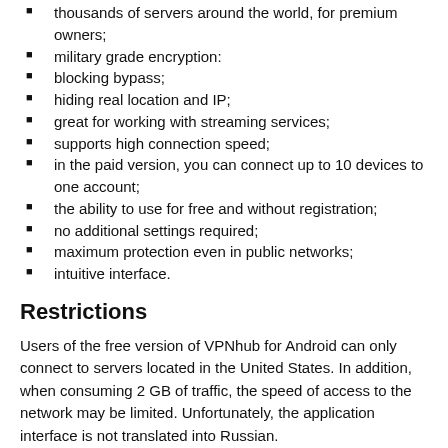thousands of servers around the world, for premium owners;
military grade encryption:
blocking bypass;
hiding real location and IP;
great for working with streaming services;
supports high connection speed;
in the paid version, you can connect up to 10 devices to one account;
the ability to use for free and without registration;
no additional settings required;
maximum protection even in public networks;
intuitive interface.
Restrictions
Users of the free version of VPNhub for Android can only connect to servers located in the United States. In addition, when consuming 2 GB of traffic, the speed of access to the network may be limited. Unfortunately, the application interface is not translated into Russian.